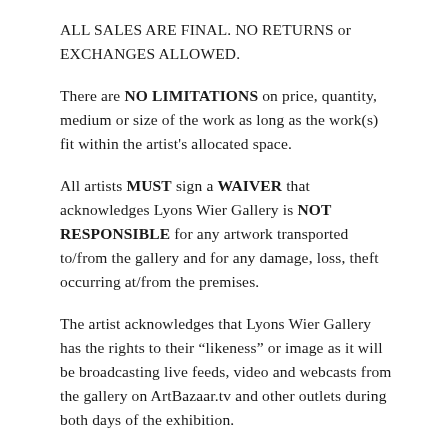ALL SALES ARE FINAL. NO RETURNS or EXCHANGES ALLOWED.
There are NO LIMITATIONS on price, quantity, medium or size of the work as long as the work(s) fit within the artist's allocated space.
All artists MUST sign a WAIVER that acknowledges Lyons Wier Gallery is NOT RESPONSIBLE for any artwork transported to/from the gallery and for any damage, loss, theft occurring at/from the premises.
The artist acknowledges that Lyons Wier Gallery has the rights to their “likeness” or image as it will be broadcasting live feeds, video and webcasts from the gallery on ArtBazaar.tv and other outlets during both days of the exhibition.
Artists may participate at the Art Bazaar as many weekends as they like. There is no limit to how many